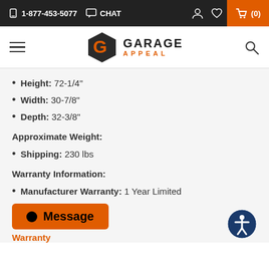1-877-453-5077  CHAT
[Figure (logo): Garage Appeal logo with orange hexagon G icon and text GARAGE APPEAL]
Height: 72-1/4"
Width: 30-7/8"
Depth: 32-3/8"
Approximate Weight:
Shipping: 230 lbs
Warranty Information:
Manufacturer Warranty: 1 Year Limited
Message
Warranty